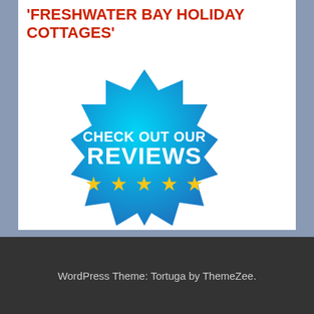'FRESHWATER BAY HOLIDAY COTTAGES'
[Figure (illustration): A cyan/light blue starburst badge graphic with the text 'CHECK OUT OUR REVIEWS' in white bold lettering and five gold stars below, indicating a review badge or promotional image for Freshwater Bay Holiday Cottages.]
WordPress Theme: Tortuga by ThemeZee.